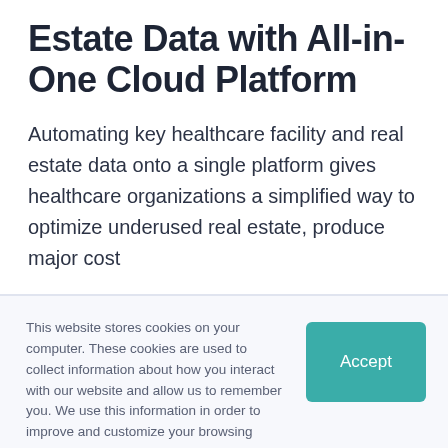Estate Data with All-in-One Cloud Platform
Automating key healthcare facility and real estate data onto a single platform gives healthcare organizations a simplified way to optimize underused real estate, produce major cost
This website stores cookies on your computer. These cookies are used to collect information about how you interact with our website and allow us to remember you. We use this information in order to improve and customize your browsing experience and for analytics and metrics about our visitors both on this website and other media. To find out more about the cookies we use, see our Privacy Policy.